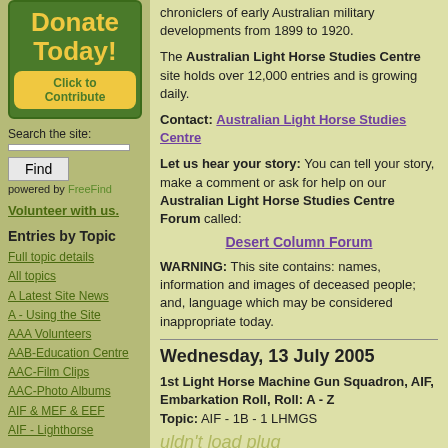[Figure (other): Green Donate Today box with yellow text and Click to Contribute button]
Search the site:
Find
powered by FreeFind
Volunteer with us.
Entries by Topic
Full topic details
All topics
A Latest Site News
A - Using the Site
AAA Volunteers
AAB-Education Centre
AAC-Film Clips
AAC-Photo Albums
AIF & MEF & EEF
AIF - Lighthorse
chroniclers of early Australian military developments from 1899 to 1920.
The Australian Light Horse Studies Centre site holds over 12,000 entries and is growing daily.
Contact: Australian Light Horse Studies Centre
Let us hear your story: You can tell your story, make a comment or ask for help on our Australian Light Horse Studies Centre Forum called:
Desert Column Forum
WARNING: This site contains: names, information and images of deceased people; and, language which may be considered inappropriate today.
Wednesday, 13 July 2005
1st Light Horse Machine Gun Squadron, AIF, Embarkation Roll, Roll: A - Z
Topic: AIF - 1B - 1 LHMGS
uldn't load plug
1st LHMGS, AIF